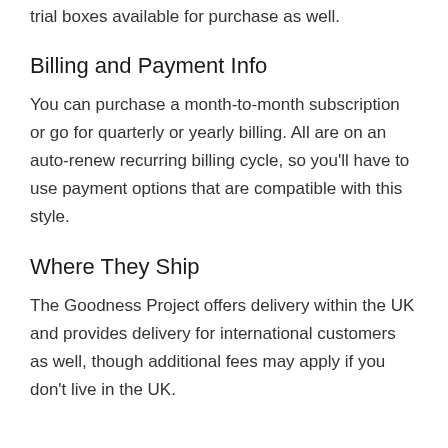trial boxes available for purchase as well.
Billing and Payment Info
You can purchase a month-to-month subscription or go for quarterly or yearly billing. All are on an auto-renew recurring billing cycle, so you'll have to use payment options that are compatible with this style.
Where They Ship
The Goodness Project offers delivery within the UK and provides delivery for international customers as well, though additional fees may apply if you don't live in the UK.